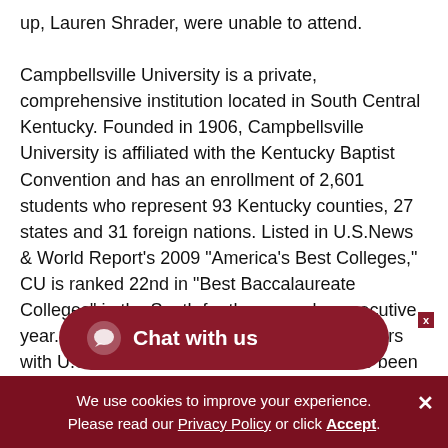up, Lauren Shrader, were unable to attend.
Campbellsville University is a private, comprehensive institution located in South Central Kentucky. Founded in 1906, Campbellsville University is affiliated with the Kentucky Baptist Convention and has an enrollment of 2,601 students who represent 93 Kentucky counties, 27 states and 31 foreign nations. Listed in U.S.News & World Report's 2009 "America's Best Colleges," CU is ranked 22nd in "Best Baccalaureate Colleges" in the South for the second consecutive year. CU has been ranked 16 consecutive years with U.S.News & W... has also been named to A... Colleges®. Campbellsville University is located 82...
Chat with us
We use cookies to improve your experience. Please read our Privacy Policy or click Accept.